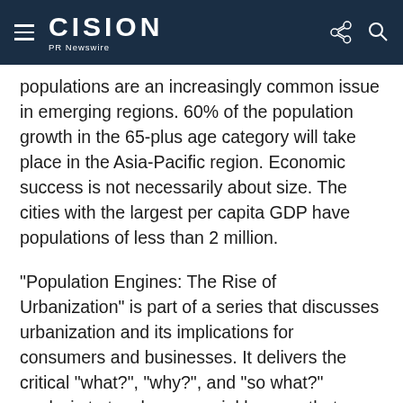CISION PR Newswire
populations are an increasingly common issue in emerging regions. 60% of the population growth in the 65-plus age category will take place in the Asia-Pacific region. Economic success is not necessarily about size. The cities with the largest per capita GDP have populations of less than 2 million.
"Population Engines: The Rise of Urbanization" is part of a series that discusses urbanization and its implications for consumers and businesses. It delivers the critical "what?", "why?", and "so what?" analysis to teach you crucial lessons that increase your chances of successful market entry.